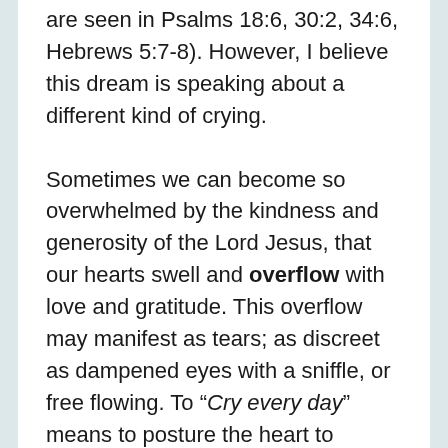are seen in Psalms 18:6, 30:2, 34:6, Hebrews 5:7-8). However, I believe this dream is speaking about a different kind of crying.
Sometimes we can become so overwhelmed by the kindness and generosity of the Lord Jesus, that our hearts swell and overflow with love and gratitude. This overflow may manifest as tears; as discreet as dampened eyes with a sniffle, or free flowing. To “Cry every day” means to posture the heart to